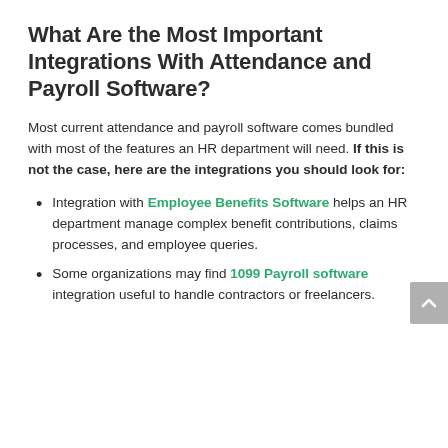What Are the Most Important Integrations With Attendance and Payroll Software?
Most current attendance and payroll software comes bundled with most of the features an HR department will need. If this is not the case, here are the integrations you should look for:
Integration with Employee Benefits Software helps an HR department manage complex benefit contributions, claims processes, and employee queries.
Some organizations may find 1099 Payroll software integration useful to handle contractors or freelancers.